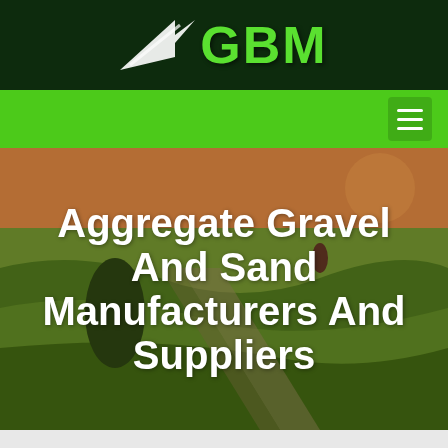GBM
[Figure (logo): GBM logo with green arrow/dart icon and green bold text 'GBM' on dark green background]
Aggregate Gravel And Sand Manufacturers And Suppliers
Home /